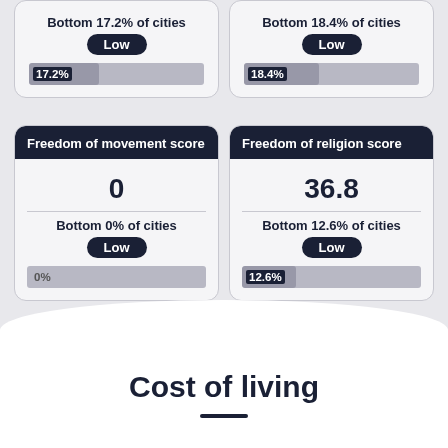Bottom 17.2% of cities
Low
17.2%
Bottom 18.4% of cities
Low
18.4%
Freedom of movement score
Freedom of religion score
0
36.8
Bottom 0% of cities
Low
0%
Bottom 12.6% of cities
Low
12.6%
Cost of living